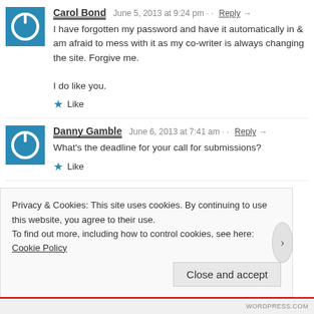Carol Bond  June 5, 2013 at 9:24 pm · · Reply →
I have forgotten my password and have it automatically in & am afraid to mess with it as my co-writer is always changing the site. Forgive me.
I do like you.
★ Like
Danny Gamble  June 6, 2013 at 7:41 am · · Reply →
What's the deadline for your call for submissions?
★ Like
Kevin Cullen  June 6, 2013 at 8:18 am · · Reply →
Privacy & Cookies: This site uses cookies. By continuing to use this website, you agree to their use.
To find out more, including how to control cookies, see here: Cookie Policy
Close and accept